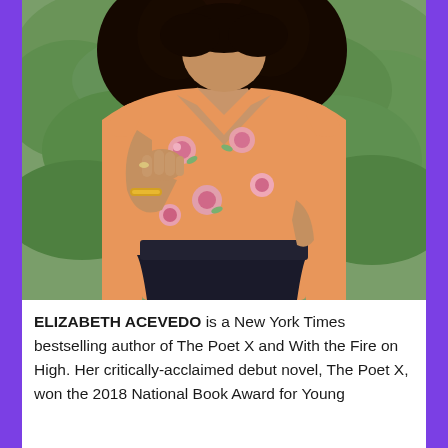[Figure (photo): Portrait photo of Elizabeth Acevedo, a woman with curly black hair wearing an orange/peach floral top and black skirt, posed outdoors with green foliage background, hand on chest.]
ELIZABETH ACEVEDO is a New York Times bestselling author of The Poet X and With the Fire on High. Her critically-acclaimed debut novel, The Poet X, won the 2018 National Book Award for Young